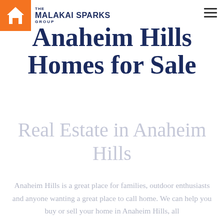THE MALAKAI SPARKS GROUP
Anaheim Hills Homes for Sale
Real Estate in Anaheim Hills
Anaheim Hills is a great place for families, outdoor enthusiasts and anyone wanting a great place to call home. We can help you buy or sell your home in Anaheim Hills, all